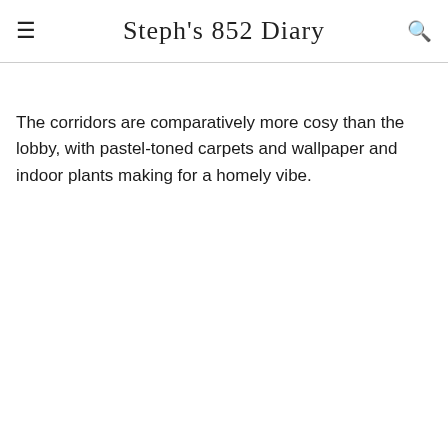Steph's 852 Diary
The corridors are comparatively more cosy than the lobby, with pastel-toned carpets and wallpaper and indoor plants making for a homely vibe.